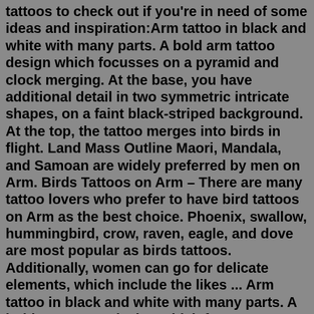tattoos to check out if you're in need of some ideas and inspiration:Arm tattoo in black and white with many parts. A bold arm tattoo design which focusses on a pyramid and clock merging. At the base, you have additional detail in two symmetric intricate shapes, on a faint black-striped background. At the top, the tattoo merges into birds in flight. Land Mass Outline Maori, Mandala, and Samoan are widely preferred by men on Arm. Birds Tattoos on Arm – There are many tattoo lovers who prefer to have bird tattoos on Arm as the best choice. Phoenix, swallow, hummingbird, crow, raven, eagle, and dove are most popular as birds tattoos. Additionally, women can go for delicate elements, which include the likes ... Arm tattoo in black and white with many parts. A bold arm tattoo design which focusses on a pyramid and clock merging. At the base, you have additional detail in two symmetric intricate shapes, on a faint black-striped background. At the top, the tattoo merges into birds in flight. Land Mass Outline Arm tattoo in black and white with many parts. A bold arm tattoo